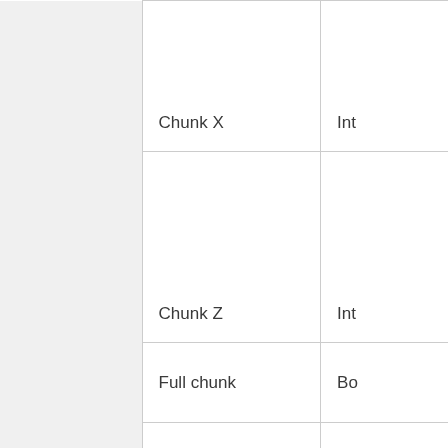|  |  |  |  |  | Chunk X | Int... |
| --- | --- | --- | --- | --- | --- | --- |
|  |  |  |  |  | Chunk X | Int |
|  |  |  |  |  | Chunk Z | Int |
|  |  |  |  |  | Full chunk | Bo |
|  |  |  |  |  | Primary Bit Mask | Va |
|  |  |  |  |  |  |  |